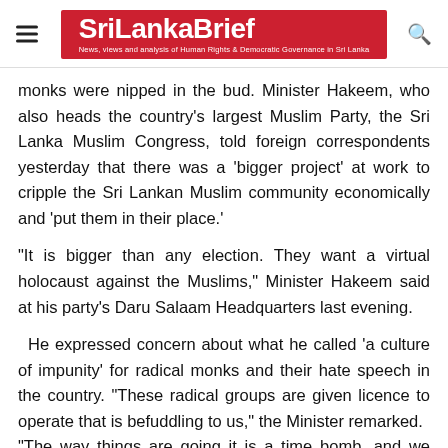SriLankaBrief — News, views and analysis of Human Rights & Democratic Governance in Sri Lanka
monks were nipped in the bud. Minister Hakeem, who also heads the country's largest Muslim Party, the Sri Lanka Muslim Congress, told foreign correspondents yesterday that there was a 'bigger project' at work to cripple the Sri Lankan Muslim community economically and 'put them in their place.'
“It is bigger than any election. They want a virtual holocaust against the Muslims,” Minister Hakeem said at his party's Daru Salaam Headquarters last evening. He expressed concern about what he called ‘a culture of impunity’ for radical monks and their hate speech in the country. “These radical groups are given licence to operate that is befuddling to us,” the Minister remarked. “The way things are going it is a time bomb, and we have a duty by the nation to arrest the situation,” Hakeem noted. He said that when a community is repeatedly pushed against a wall, it creates a breeding ground for external elements to